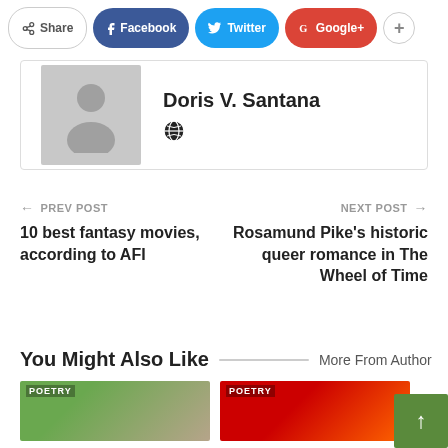[Figure (other): Share bar with Share, Facebook, Twitter, Google+, and + buttons]
[Figure (other): Author card with placeholder avatar for Doris V. Santana with globe icon]
Doris V. Santana
← PREV POST
10 best fantasy movies, according to AFI
NEXT POST →
Rosamund Pike's historic queer romance in The Wheel of Time
You Might Also Like
More From Author
[Figure (photo): POETRY thumbnail image left]
[Figure (photo): POETRY thumbnail image right]